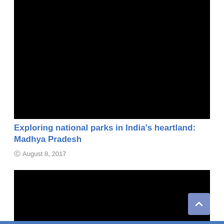[Figure (photo): Large black rectangular image placeholder at top of article card]
Exploring national parks in India’s heartland: Madhya Pradesh
© August 8, 2017
[Figure (photo): Large black rectangular image placeholder below article title]